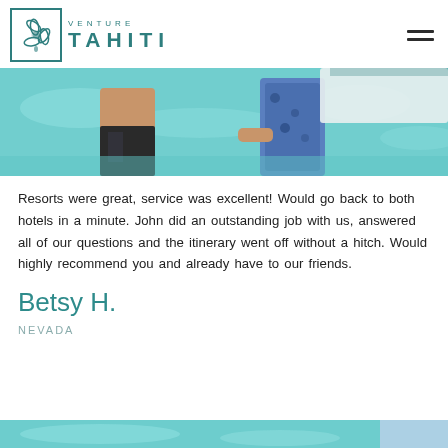VENTURE TAHITI
[Figure (photo): Two people standing in shallow turquoise water, one holding a paddleboard or similar watercraft]
Resorts were great, service was excellent! Would go back to both hotels in a minute. John did an outstanding job with us, answered all of our questions and the itinerary went off without a hitch. Would highly recommend you and already have to our friends.
Betsy H.
NEVADA
[Figure (photo): Partial bottom strip showing turquoise water scene]